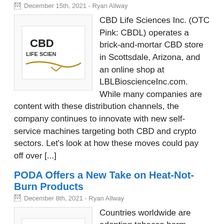December 15th, 2021 - Ryan Allway
[Figure (logo): CBD Life Sciences logo with text 'CBD LIFE SCIENCES' and decorative swoosh]
CBD Life Sciences Inc. (OTC Pink: CBDL) operates a brick-and-mortar CBD store in Scottsdale, Arizona, and an online shop at LBLBioscienceInc.com. While many companies are content with these distribution channels, the company continues to innovate with new self-service machines targeting both CBD and crypto sectors. Let's look at how these moves could pay off over [...]
PODA Offers a New Take on Heat-Not-Burn Products
December 8th, 2021 - Ryan Allway
[Figure (logo): PODA logo showing OD letters with a bar over the O]
Countries worldwide are adopting tobacco harm reduction policies to reduce smoking-related deaths and diseases. While smoking prevention and cessation are the centerpieces of these strategies, scientists believe that public health outcomes among smokers could significantly improve if they switch to non-combustible alternatives. Heat-not-burn products, such as